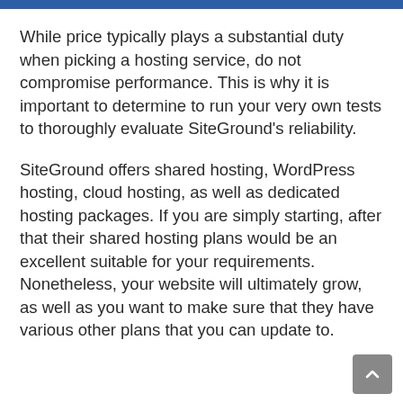While price typically plays a substantial duty when picking a hosting service, do not compromise performance. This is why it is important to determine to run your very own tests to thoroughly evaluate SiteGround’s reliability.
SiteGround offers shared hosting, WordPress hosting, cloud hosting, as well as dedicated hosting packages. If you are simply starting, after that their shared hosting plans would be an excellent suitable for your requirements. Nonetheless, your website will ultimately grow, as well as you want to make sure that they have various other plans that you can update to.